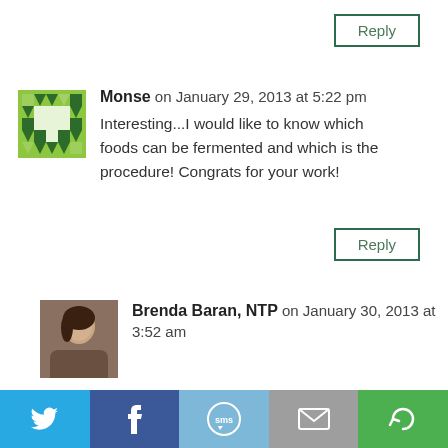Reply
[Figure (illustration): Green pixel/geometric avatar for user Monse]
Monse on January 29, 2013 at 5:22 pm
Interesting...I would like to know which foods can be fermented and which is the procedure! Congrats for your work!
Reply
[Figure (photo): Photo of Brenda Baran, NTP]
Brenda Baran, NTP on January 30, 2013 at 3:52 am
I will make sure to make a post with a list of fermented foods for you! The list is
[Figure (infographic): Social sharing bar with Twitter, Facebook, SMS, Email, and another icon]